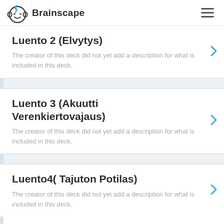Brainscape
Luento 2 (Elvytys)
The creator of this deck did not yet add a description for what is included in this deck.
Luento 3 (Akuutti Verenkiertovajaus)
The creator of this deck did not yet add a description for what is included in this deck.
Luento4( Tajuton Potilas)
The creator of this deck did not yet add a description for what is included in this deck.